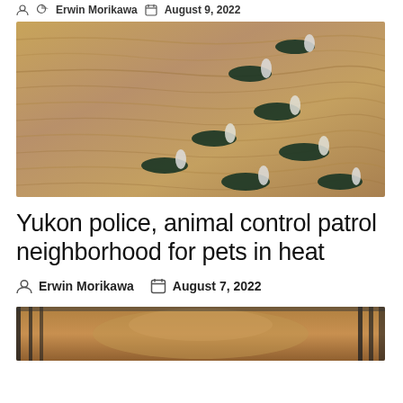Erwin Morikawa  August 9, 2022
[Figure (photo): Aerial view of camels walking on sandy desert terrain, casting dark shadows on the rippled sand below]
Yukon police, animal control patrol neighborhood for pets in heat
Erwin Morikawa  August 7, 2022
[Figure (photo): Close-up photo of a lion or large cat behind cage bars]